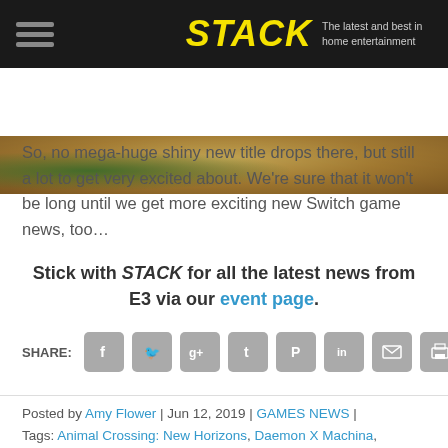STACK — The latest and best in home entertainment
[Figure (photo): Outdoor scene with golden/green landscape, hero banner strip]
So, no mega-huge shiny new title drops there, but still a lot to get very excited about. We’re sure that it won’t be long until we get more exciting new Switch game news, too…
Stick with STACK for all the latest news from E3 via our event page.
SHARE:
Posted by Amy Flower | Jun 12, 2019 | GAMES NEWS | Tags: Animal Crossing: New Horizons, Daemon X Machina,